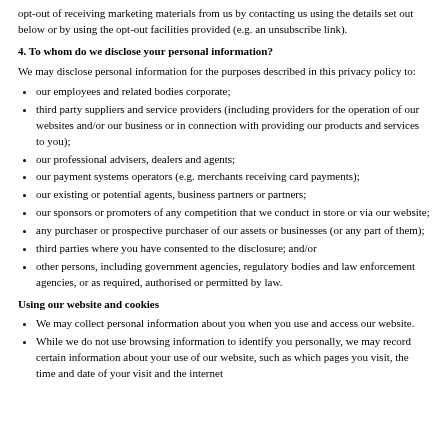opt-out of receiving marketing materials from us by contacting us using the details set out below or by using the opt-out facilities provided (e.g. an unsubscribe link).
4. To whom do we disclose your personal information?
We may disclose personal information for the purposes described in this privacy policy to:
our employees and related bodies corporate;
third party suppliers and service providers (including providers for the operation of our websites and/or our business or in connection with providing our products and services to you);
our professional advisers, dealers and agents;
our payment systems operators (e.g. merchants receiving card payments);
our existing or potential agents, business partners or partners;
our sponsors or promoters of any competition that we conduct in store or via our website;
any purchaser or prospective purchaser of our assets or businesses (or any part of them);
third parties where you have consented to the disclosure; and/or
other persons, including government agencies, regulatory bodies and law enforcement agencies, or as required, authorised or permitted by law.
Using our website and cookies
We may collect personal information about you when you use and access our website.
While we do not use browsing information to identify you personally, we may record certain information about your use of our website, such as which pages you visit, the time and date of your visit and the internet